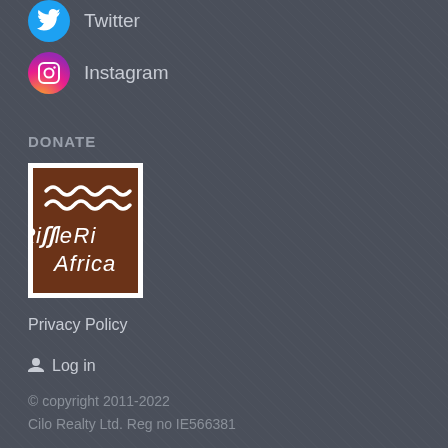Twitter
Instagram
DONATE
[Figure (logo): Ripple Africa logo — brown square with white wavy lines on top and 'Ripple Africa' text below in white]
Privacy Policy
Log in
© copyright 2011-2022
Cilo Realty Ltd. Reg no IE566381